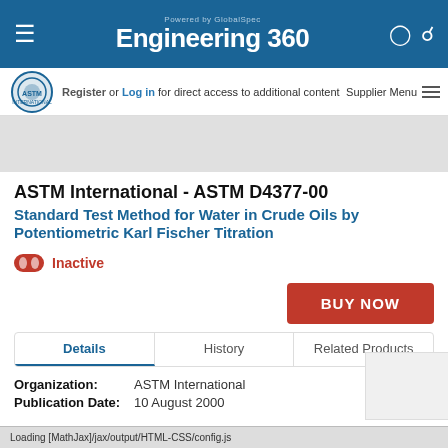Engineering 360 — Powered by GlobalSpec
Register or Log in for direct access to additional content | Supplier Menu
[Figure (other): ASTM International logo]
ASTM International - ASTM D4377-00
Standard Test Method for Water in Crude Oils by Potentiometric Karl Fischer Titration
Inactive
BUY NOW
Details | History | Related Products
Organization: ASTM International
Publication Date: 10 August 2000
Loading [MathJax]/jax/output/HTML-CSS/config.js